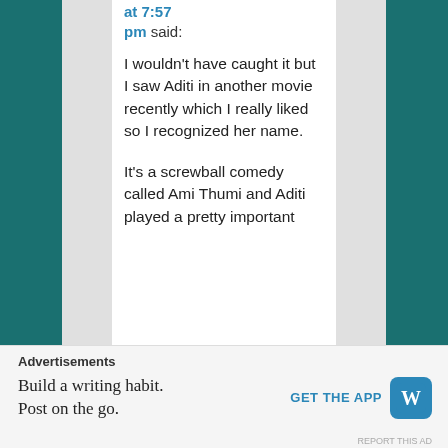at 7:57 pm said:
I wouldn't have caught it but I saw Aditi in another movie recently which I really liked so I recognized her name.
It's a screwball comedy called Ami Thumi and Aditi played a pretty important
Advertisements
Build a writing habit. Post on the go.
GET THE APP